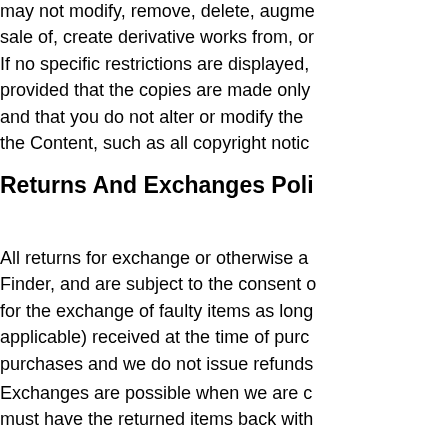may not modify, remove, delete, augment... sale of, create derivative works from, or... If no specific restrictions are displayed, y... provided that the copies are made only f... and that you do not alter or modify the C... the Content, such as all copyright notice...
Returns And Exchanges Polic...
All returns for exchange or otherwise are... Finder, and are subject to the consent of... for the exchange of faulty items as long... applicable) received at the time of purch... purchases and we do not issue refunds...
Exchanges are possible when we are c... must have the returned items back withi...
All exchanges are subject to availability...